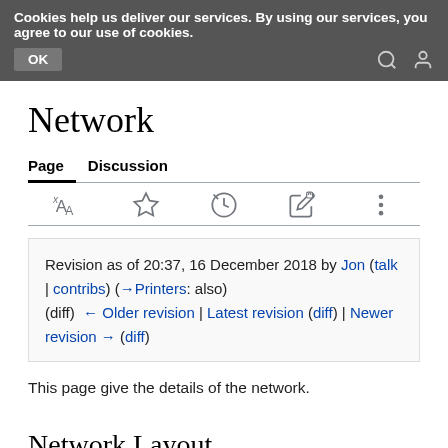Cookies help us deliver our services. By using our services, you agree to our use of cookies. OK
Network
Page  Discussion
Revision as of 20:37, 16 December 2018 by Jon (talk | contribs) (→Printers: also)
(diff) ← Older revision | Latest revision (diff) | Newer revision → (diff)
This page give the details of the network.
Network Layout
This page will show the network topology & proposals for